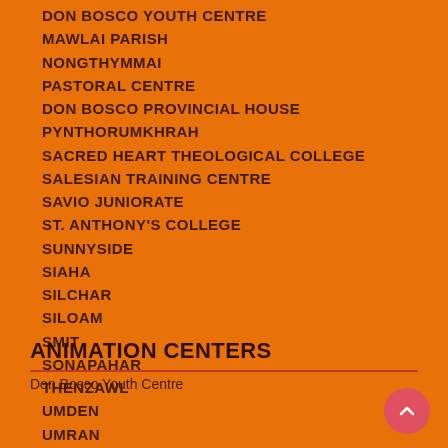DON BOSCO YOUTH CENTRE
MAWLAI PARISH
NONGTHYMMAI
PASTORAL CENTRE
DON BOSCO PROVINCIAL HOUSE
PYNTHORUMKHRAH
SACRED HEART THEOLOGICAL COLLEGE
SALESIAN TRAINING CENTRE
SAVIO JUNIORATE
ST. ANTHONY'S COLLEGE
SUNNYSIDE
SIAHA
SILCHAR
SILOAM
SMIT
SONAPAHAR
THENZAWL
UMDEN
UMRAN
ANIMATION CENTERS
Don Bosco Youth Centre